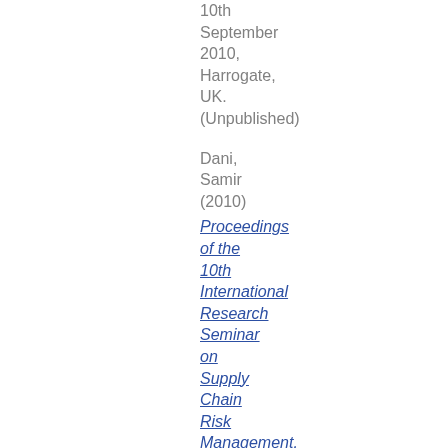10th September 2010, Harrogate, UK. (Unpublished)
Dani, Samir (2010) Proceedings of the 10th International Research Seminar on Supply Chain Risk Management. Loughborough
Loughborough